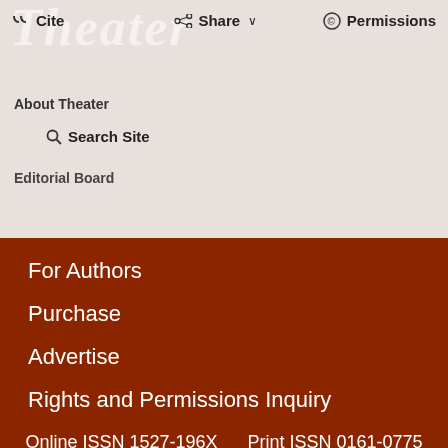Theater
Cite
Share
Permissions
About Theater
Search Site
Editorial Board
For Authors
Purchase
Advertise
Rights and Permissions Inquiry
Online ISSN 1527-196X    Print ISSN 0161-0775
Copyright © 2022
This site uses cookies. By continuing to use our website, you are agreeing to our privacy policy.
Accept